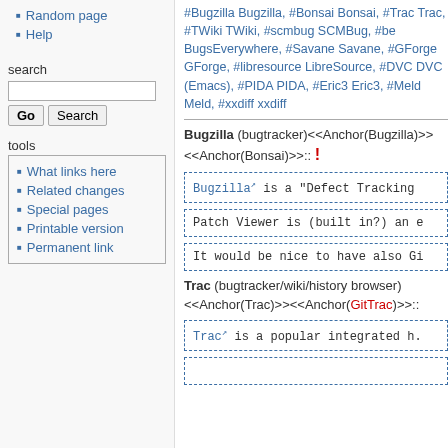Random page
Help
search
#Bugzilla Bugzilla, #Bonsai Bonsai, #Trac Trac, #TWiki TWiki, #scmbug SCMBug, #be BugsEverywhere, #Savane Savane, #GForge GForge, #libresource LibreSource, #DVC DVC (Emacs), #PIDA PIDA, #Eric3 Eric3, #Meld Meld, #xxdiff xxdiff
Bugzilla (bugtracker)<<Anchor(Bugzilla)>> <<Anchor(Bonsai)>>:: !
Bugzilla is a "Defect Tracking
Patch Viewer is (built in?) an e
It would be nice to have also Gi
Trac (bugtracker/wiki/history browser) <<Anchor(Trac)>><<Anchor(GitTrac)>>::
Trac is a popular integrated h.
tools
What links here
Related changes
Special pages
Printable version
Permanent link